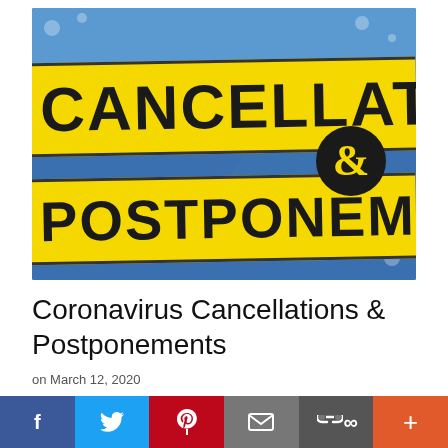[Figure (photo): Image showing yellow banners with black bold text reading 'CANCELLATI' and 'POSTPONEM' with an ampersand symbol on a blue snowflake background, representing cancellations and postponements.]
Coronavirus Cancellations & Postponements
on March 12, 2020
[Figure (infographic): Social media sharing bar with buttons for Facebook (f), Twitter (bird), Pinterest (P), Email (envelope), Link (chain), and Plus (+) icons in their respective brand colors.]